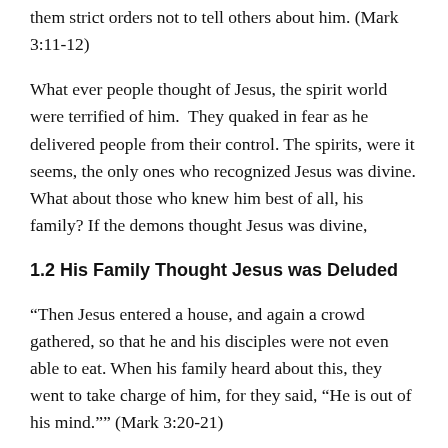them strict orders not to tell others about him. (Mark 3:11-12)
What ever people thought of Jesus, the spirit world were terrified of him. They quaked in fear as he delivered people from their control. The spirits, were it seems, the only ones who recognized Jesus was divine. What about those who knew him best of all, his family? If the demons thought Jesus was divine,
1.2 His Family Thought Jesus was Deluded
“Then Jesus entered a house, and again a crowd gathered, so that he and his disciples were not even able to eat. When his family heard about this, they went to take charge of him, for they said, “He is out of his mind.”” (Mark 3:20-21)
Jesus family knew him well, or so they thought. He had given up his trade as a carpenter, left his family in Nazareth behind,